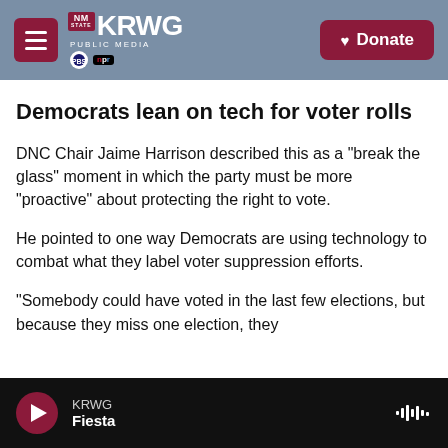KRWG Public Media | PBS NPR | Donate
Democrats lean on tech for voter rolls
DNC Chair Jaime Harrison described this as a "break the glass" moment in which the party must be more "proactive" about protecting the right to vote.
He pointed to one way Democrats are using technology to combat what they label voter suppression efforts.
"Somebody could have voted in the last few elections, but because they miss one election, they
KRWG | Fiesta